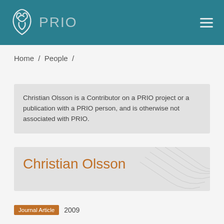PRIO
Home / People /
Christian Olsson is a Contributor on a PRIO project or a publication with a PRIO person, and is otherwise not associated with PRIO.
Christian Olsson
Journal Article  2009